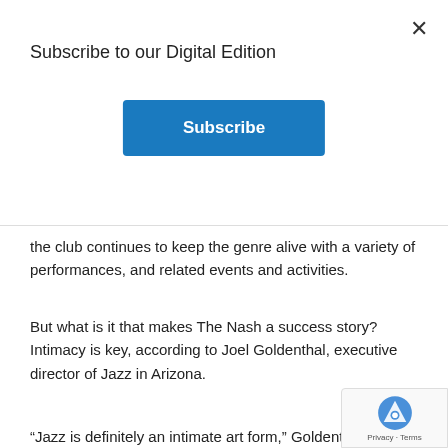Subscribe to our Digital Edition
Subscribe
the club continues to keep the genre alive with a variety of performances, and related events and activities.
But what is it that makes The Nash a success story? Intimacy is key, according to Joel Goldenthal, executive director of Jazz in Arizona.
“Jazz is definitely an intimate art form,” Goldenthal says. “It’s a very engaged and enthusiastic audience and we have people who enjoy the show and want to come back.”
This month, The Nash will is hosting a fifth anniversary celebration, featuring “all flavors of jazz,” Goldenthal says